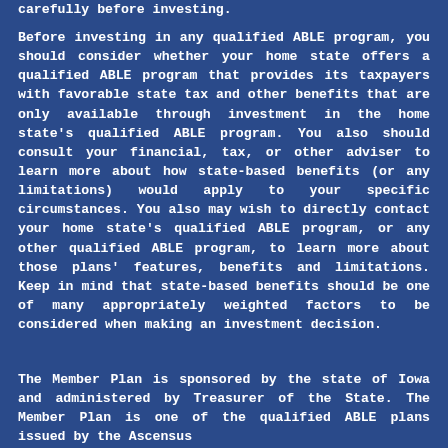carefully before investing.
Before investing in any qualified ABLE program, you should consider whether your home state offers a qualified ABLE program that provides its taxpayers with favorable state tax and other benefits that are only available through investment in the home state's qualified ABLE program. You also should consult your financial, tax, or other adviser to learn more about how state-based benefits (or any limitations) would apply to your specific circumstances. You also may wish to directly contact your home state's qualified ABLE program, or any other qualified ABLE program, to learn more about those plans' features, benefits and limitations. Keep in mind that state-based benefits should be one of many appropriately weighted factors to be considered when making an investment decision.
The Member Plan is sponsored by the state of Iowa and administered by Treasurer of the State. The Member Plan is one of the qualified ABLE plans issued by the Ascensus